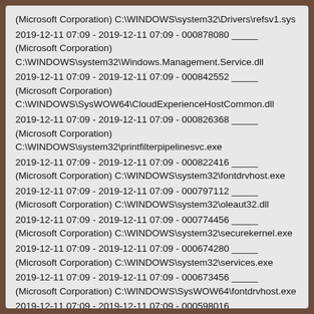(Microsoft Corporation) C:\WINDOWS\system32\Drivers\refsv1.sys
2019-12-11 07:09 - 2019-12-11 07:09 - 000878080 _____ (Microsoft Corporation) C:\WINDOWS\system32\Windows.Management.Service.dll
2019-12-11 07:09 - 2019-12-11 07:09 - 000842552 _____ (Microsoft Corporation) C:\WINDOWS\SysWOW64\CloudExperienceHostCommon.dll
2019-12-11 07:09 - 2019-12-11 07:09 - 000826368 _____ (Microsoft Corporation) C:\WINDOWS\system32\printfilterpipelinesvc.exe
2019-12-11 07:09 - 2019-12-11 07:09 - 000822416 _____ (Microsoft Corporation) C:\WINDOWS\system32\fontdrvhost.exe
2019-12-11 07:09 - 2019-12-11 07:09 - 000797112 _____ (Microsoft Corporation) C:\WINDOWS\system32\oleaut32.dll
2019-12-11 07:09 - 2019-12-11 07:09 - 000774456 _____ (Microsoft Corporation) C:\WINDOWS\system32\securekernel.exe
2019-12-11 07:09 - 2019-12-11 07:09 - 000674280 _____ (Microsoft Corporation) C:\WINDOWS\system32\services.exe
2019-12-11 07:09 - 2019-12-11 07:09 - 000673456 _____ (Microsoft Corporation) C:\WINDOWS\SysWOW64\fontdrvhost.exe
2019-12-11 07:09 - 2019-12-11 07:09 - 000598016 _____ (Microsoft Corporation) C:\WINDOWS\system32\MusNotification.exe